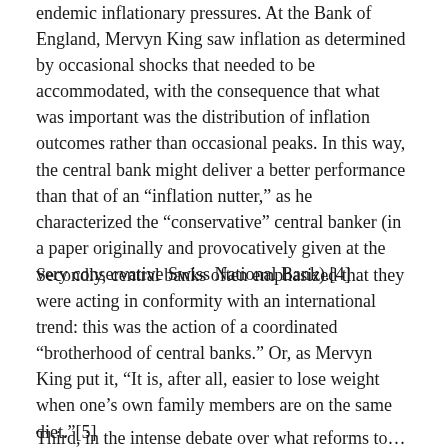endemic inflationary pressures. At the Bank of England, Mervyn King saw inflation as determined by occasional shocks that needed to be accommodated, with the consequence that what was important was the distribution of inflation outcomes rather than occasional peaks. In this way, the central bank might deliver a better performance than that of an “inflation nutter,” as he characterized the “conservative” central banker (in a paper originally and provocatively given at the very conservative Swiss National Bank).[4]
Secondly, central banks often emphasized that they were acting in conformity with an international trend: this was the action of a coordinated “brotherhood of central banks.” Or, as Mervyn King put it, “It is, after all, easier to lose weight when one’s own family members are on the same diet.”[5]
Third, in the intense debate over what reforms to...